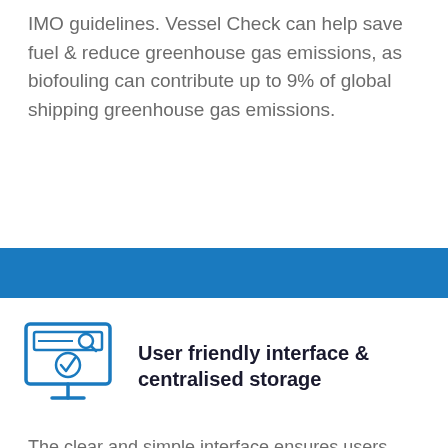IMO guidelines. Vessel Check can help save fuel & reduce greenhouse gas emissions, as biofouling can contribute up to 9% of global shipping greenhouse gas emissions.
[Figure (illustration): Icon of a computer monitor with a magnifying glass and a checkmark on screen, rendered in blue outline style. Represents a user-friendly interface.]
User friendly interface & centralised storage
The clear and simple interface ensures users can easily navigate around the portal, efficiently